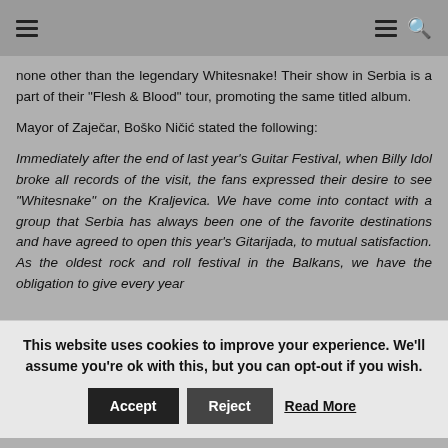Navigation header with hamburger menus and search icon
none other than the legendary Whitesnake! Their show in Serbia is a part of their "Flesh & Blood" tour, promoting the same titled album.
Mayor of Zaječar, Boško Ničić stated the following:
Immediately after the end of last year's Guitar Festival, when Billy Idol broke all records of the visit, the fans expressed their desire to see "Whitesnake" on the Kraljevica. We have come into contact with a group that Serbia has always been one of the favorite destinations and have agreed to open this year's Gitarijada, to mutual satisfaction. As the oldest rock and roll festival in the Balkans, we have the obligation to give every year
This website uses cookies to improve your experience. We'll assume you're ok with this, but you can opt-out if you wish. Accept Reject Read More